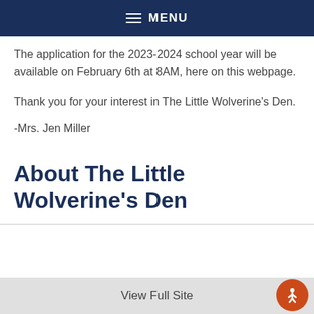MENU
The application for the 2023-2024 school year will be available on February 6th at 8AM, here on this webpage.
Thank you for your interest in The Little Wolverine's Den.
-Mrs. Jen Miller
About The Little Wolverine's Den
View Full Site